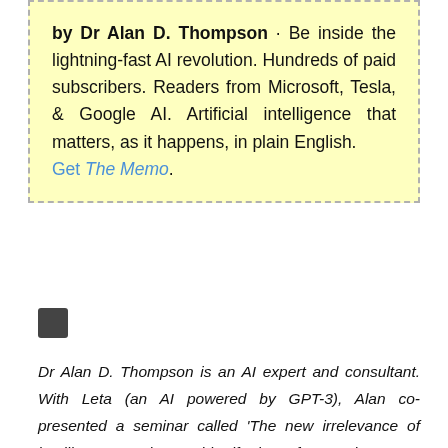by Dr Alan D. Thompson · Be inside the lightning-fast AI revolution. Hundreds of paid subscribers. Readers from Microsoft, Tesla, & Google AI. Artificial intelligence that matters, as it happens, in plain English. Get The Memo.
[Figure (other): Small dark gray square icon/avatar]
Dr Alan D. Thompson is an AI expert and consultant. With Leta (an AI powered by GPT-3), Alan co-presented a seminar called 'The new irrelevance of intelligence' at the World Gifted Conference in August 2021. His applied AI research